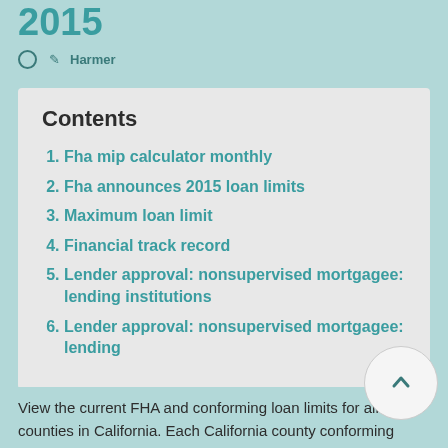2015
Harmer
Contents
Fha mip calculator monthly
Fha announces 2015 loan limits
Maximum loan limit
Financial track record
Lender approval: nonsupervised mortgagee: lending institutions
Lender approval: nonsupervised mortgagee: lending
View the current FHA and conforming loan limits for all counties in California. Each California county conforming